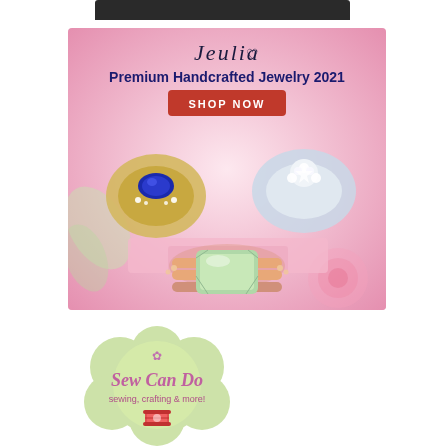[Figure (illustration): Dark banner/bar at top of page]
[Figure (illustration): Jeulia Premium Handcrafted Jewelry 2021 advertisement with pink floral background, showing three gemstone rings (sapphire in gold, diamond halo, emerald-cut in rose gold) and a red SHOP NOW button]
[Figure (logo): Sew Can Do logo - green flower-shaped badge with text 'Sew Can Do' and 'sewing, crafting & more!' with a spool of thread icon]